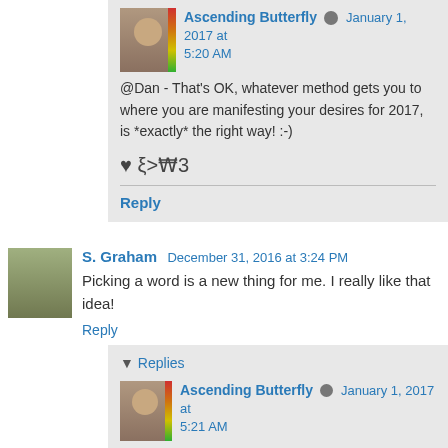Ascending Butterfly  January 1, 2017 at 5:20 AM
@Dan - That's OK, whatever method gets you to where you are manifesting your desires for 2017, is *exactly* the right way! :-)

♥ ξ>₩3
Reply
S. Graham  December 31, 2016 at 3:24 PM
Picking a word is a new thing for me. I really like that idea!
Reply
▼ Replies
Ascending Butterfly  January 1, 2017 at 5:21 AM
@S. - It still excites me now as much as when I